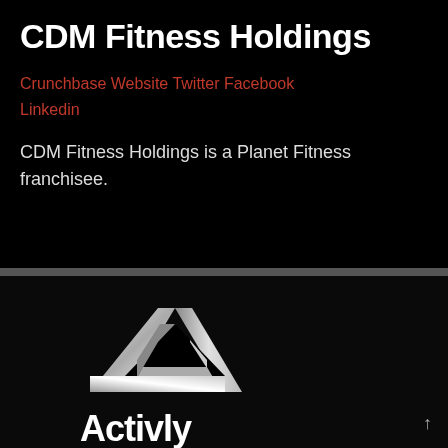CDM Fitness Holdings
Crunchbase Website Twitter Facebook Linkedin
CDM Fitness Holdings is a Planet Fitness franchisee.
[Figure (logo): Activly company logo: a metallic 3D triangular geometric shape (Penrose triangle style) in white/grey gradient on black background]
Activly